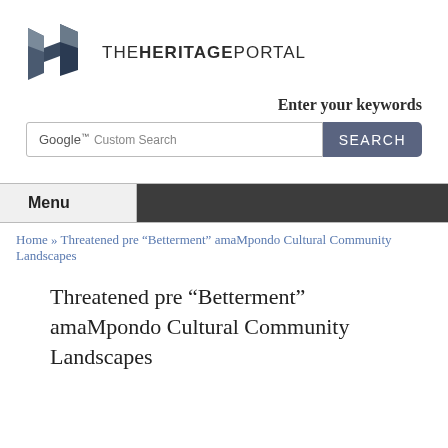[Figure (logo): The Heritage Portal logo with geometric building icon and text THE HERITAGE PORTAL]
Enter your keywords
[Figure (screenshot): Google Custom Search box with SEARCH button]
Menu
Home » Threatened pre “Betterment” amaMpondo Cultural Community Landscapes
Threatened pre “Betterment” amaMpondo Cultural Community Landscapes